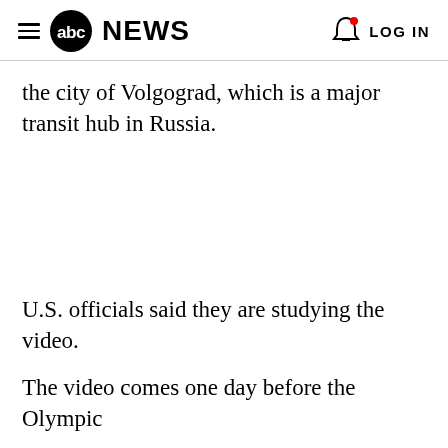abc NEWS   LOG IN
the city of Volgograd, which is a major transit hub in Russia.
U.S. officials said they are studying the video.
The video comes one day before the Olympic